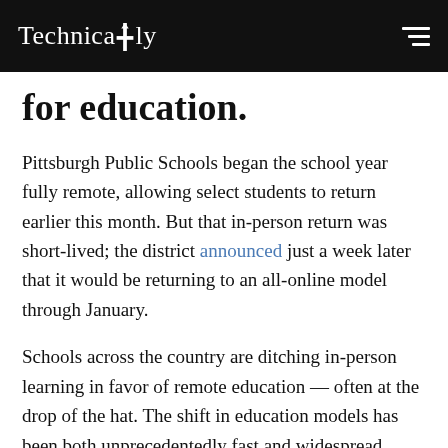Technically
for education.
Pittsburgh Public Schools began the school year fully remote, allowing select students to return earlier this month. But that in-person return was short-lived; the district announced just a week later that it would be returning to an all-online model through January.
Schools across the country are ditching in-person learning in favor of remote education — often at the drop of the hat. The shift in education models has been both unprecedentedly fast and widespread.